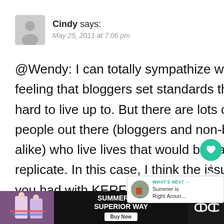[Figure (illustration): Grey silhouette avatar icon for user Cindy]
Cindy says:
May 25, 2011 at 7:06 pm
@Wendy: I can totally sympathize with feeling that bloggers set standards that are hard to live up to. But there are lots of people out there (bloggers and non-bloggers alike) who live lives that would be hard to replicate. In this case, I think the issue tha you had with KERF had more to do with the social comparisons that you were making, more so than anything about KERF per se. It's
[Figure (screenshot): What's Next card: Summer is Right Aroun...]
[Figure (infographic): Advertisement bar at bottom: Summer the Superior Way, Buy Now button]